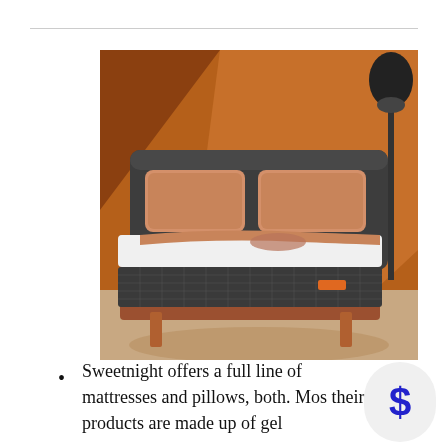[Figure (photo): A mattress with orange/tan pillow shams on a dark gray upholstered bed frame, set against a warm brown/orange background with a lamp visible on the right side.]
Sweetnight offers a full line of mattresses and pillows, both. Mos their products are made up of gel